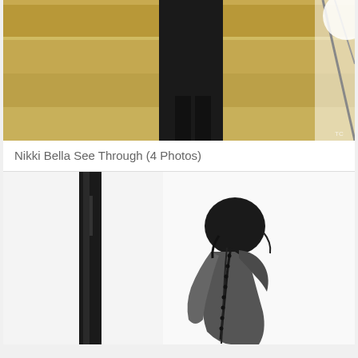[Figure (photo): Person standing on golden/yellow stairs wearing a black outfit, with metal railing visible on the right side. Only the lower body and legs visible.]
Nikki Bella See Through (4 Photos)
[Figure (photo): Black and white artistic photo of a woman with dark bob haircut leaning forward next to a dark wooden post, wearing a beaded halter necklace, photographed from the side against a white background.]